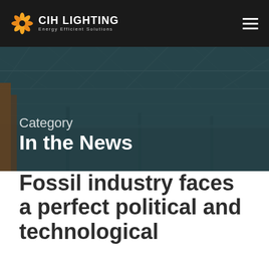CIH LIGHTING Energy Efficient Solutions
[Figure (photo): Industrial warehouse interior with steel roof trusses and lighting, shown with dark teal overlay]
Category
In the News
Fossil industry faces a perfect political and technological